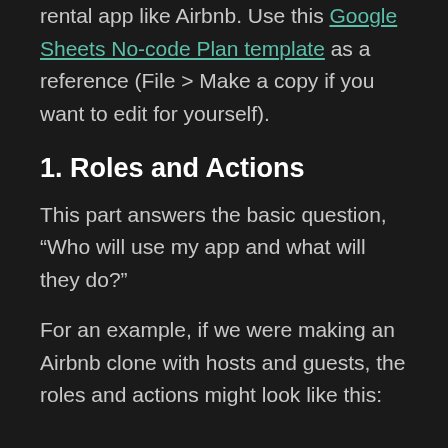rental app like Airbnb. Use this Google Sheets No-code Plan template as a reference (File > Make a copy if you want to edit for yourself).
1. Roles and Actions
This part answers the basic question, “Who will use my app and what will they do?”
For an example, if we were making an Airbnb clone with hosts and guests, the roles and actions might look like this: